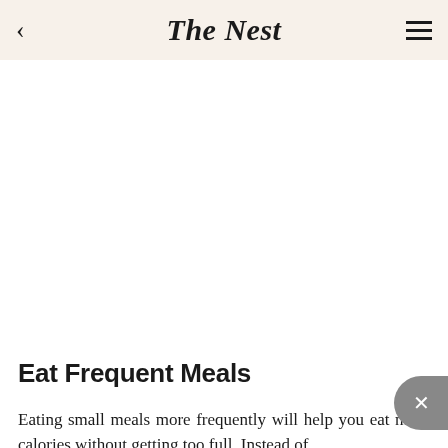The Nest
[Figure (illustration): White blank image area below the navigation header]
Eat Frequent Meals
Eating small meals more frequently will help you eat more calories without getting too full. Instead of